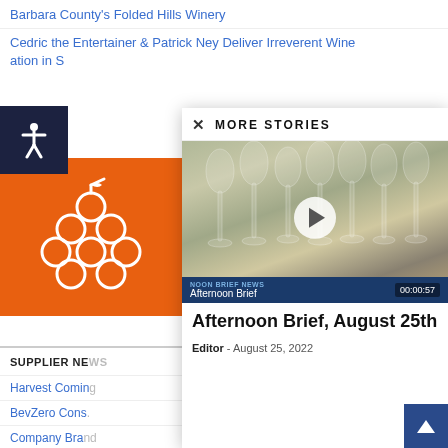Barbara County's Folded Hills Winery
Cedric the Entertainer & Patrick Ney Deliver Irreverent Wine ation in S
[Figure (logo): Orange square background with white grape cluster icon]
SUPPLIER NE
Harvest Comin
BevZero Cons
Company Bra
Commerce7 L Payments, Ne
MORE STORIES
[Figure (screenshot): Video thumbnail showing wine glasses with play button, labeled 'Afternoon Brief' with timestamp 00:00:57]
Afternoon Brief, August 25th
Editor - August 25, 2022
DIAM Bouchage Launches New Closures for Growing Sparkling Wine Market